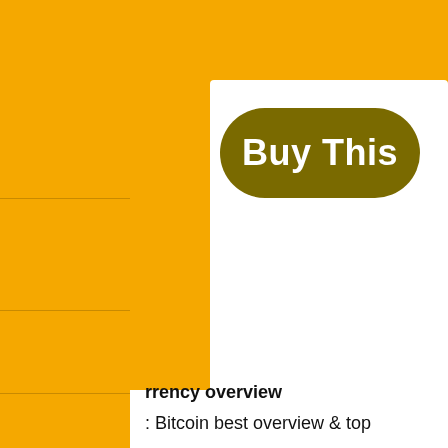[Figure (illustration): Decorative page layout with orange background, horizontal lines on left stripe, a white card panel, and a dark olive rounded rectangle button labeled 'Buy This']
Buy This
rrency overview
: Bitcoin best overview & top